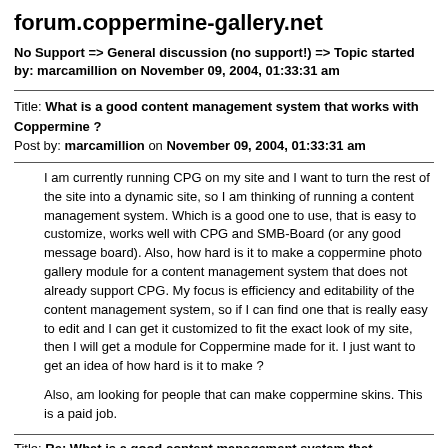forum.coppermine-gallery.net
No Support => General discussion (no support!) => Topic started by: marcamillion on November 09, 2004, 01:33:31 am
Title: What is a good content management system that works with Coppermine ?
Post by: marcamillion on November 09, 2004, 01:33:31 am
I am currently running CPG on my site and I want to turn the rest of the site into a dynamic site, so I am thinking of running a content management system. Which is a good one to use, that is easy to customize, works well with CPG and SMB-Board (or any good message board).  Also, how hard is it to make a coppermine photo gallery module for a content management system that does not already support CPG. My focus is efficiency and editability of the content management system, so if I can find one that is really easy to edit and I can get it customized to fit the exact look of my site, then I will get a module for Coppermine made for it. I just want to get an idea of how hard is it to make ?

Also, am looking for people that can make coppermine skins. This is a paid job.
Title: Re: What is a good content management system that